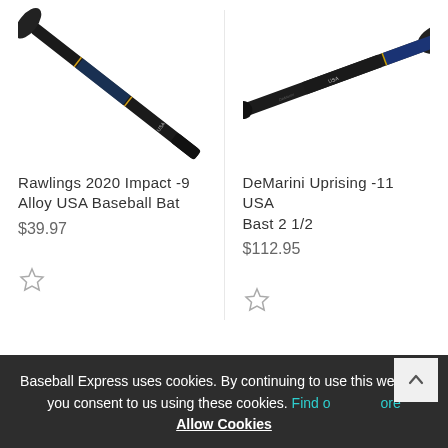[Figure (photo): Rawlings 2020 Impact baseball bat, diagonal view, black with blue and yellow accents, top-left cropped]
Rawlings 2020 Impact -9 Alloy USA Baseball Bat
$39.97
[Figure (photo): DeMarini Uprising -11 USA baseball bat, angled view showing barrel and handle with gold accents, top portion cropped]
DeMarini Uprising -11 USA Bast 2 1/2
$112.95
Baseball Express uses cookies. By continuing to use this website, you consent to us using these cookies. Find out more Allow Cookies